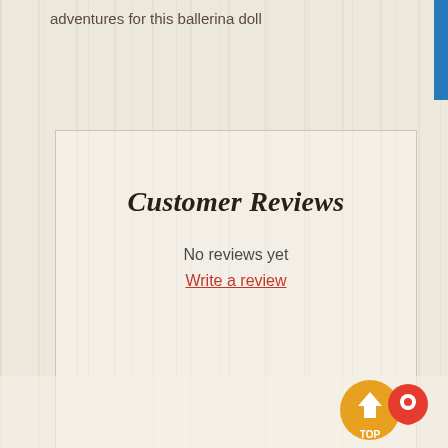adventures for this ballerina doll
Customer Reviews
No reviews yet
Write a review
You may also like...
[Figure (illustration): Orange SALE badge circle with white script text 'SALE']
[Figure (photo): A teal/mint colored KitchenAid sparkling water maker / soda machine on a white background, with carbonation bottle attached]